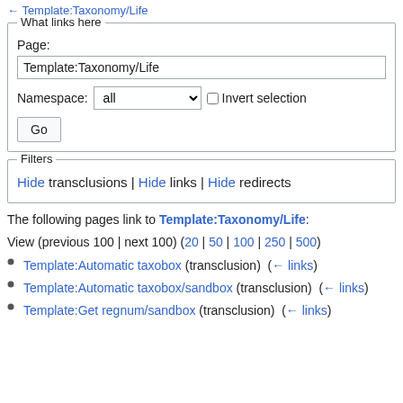← Template:Taxonomy/Life
What links here
Page: Template:Taxonomy/Life
Namespace: all  Invert selection
Go
Filters
Hide transclusions | Hide links | Hide redirects
The following pages link to Template:Taxonomy/Life:
View (previous 100 | next 100) (20 | 50 | 100 | 250 | 500)
Template:Automatic taxobox (transclusion)  (← links)
Template:Automatic taxobox/sandbox (transclusion)  (← links)
Template:Get regnum/sandbox (transclusion)  (← links)